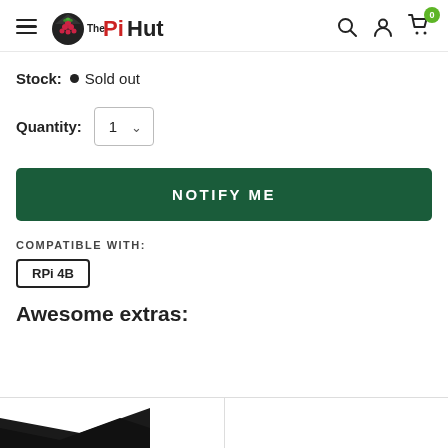[Figure (logo): The PiHut logo with hamburger menu icon and navigation icons (search, account, cart with badge showing 0)]
Stock: • Sold out
Quantity: 1
NOTIFY ME
COMPATIBLE WITH:
RPi 4B
Awesome extras:
[Figure (photo): Partial product images at the bottom of the page, showing two product cards side by side with a dark product visible in the left card]